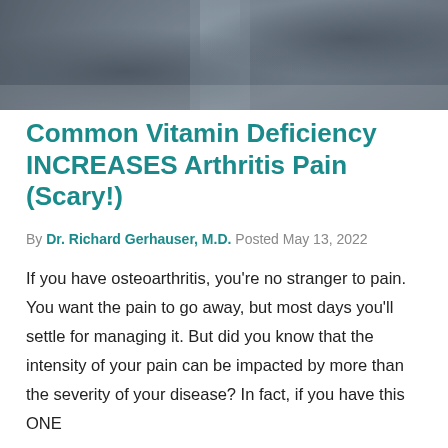[Figure (photo): Cropped photo of a person's midsection showing hands or clothing in dark grey/blue tones, serving as a banner image for the article]
Common Vitamin Deficiency INCREASES Arthritis Pain (Scary!)
By Dr. Richard Gerhauser, M.D. Posted May 13, 2022
If you have osteoarthritis, you're no stranger to pain. You want the pain to go away, but most days you'll settle for managing it. But did you know that the intensity of your pain can be impacted by more than the severity of your disease? In fact, if you have this ONE